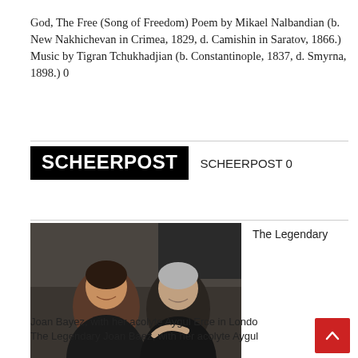God, The Free (Song of Freedom) Poem by Mikael Nalbandian (b. New Nakhichevan in Crimea, 1829, d. Camishin in Saratov, 1866.) Music by Tigran Tchukhadjian (b. Constantinople, 1837, d. Smyrna, 1898.) 0
[Figure (logo): SCHEERPOST bold white text on black background logo]
SCHEERPOST 0
[Figure (photo): Joan Baez with her acolyte Aygul Erce in London, two women smiling in dark clothing]
The Legendary
Joan Bayez, with her acolyte Aygul Erce in London. The Legendary Joan Baez, with her acolyte Aygul